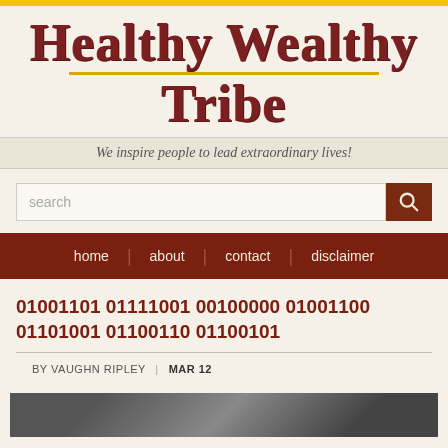Healthy Wealthy Tribe
We inspire people to lead extraordinary lives!
search
home | about | contact | disclaimer
01001101 01111001 00100000 01001100 01101001 01100110 01100101
BY VAUGHN RIPLEY | MAR 12
[Figure (photo): A photo strip at the bottom of the page, partially visible]